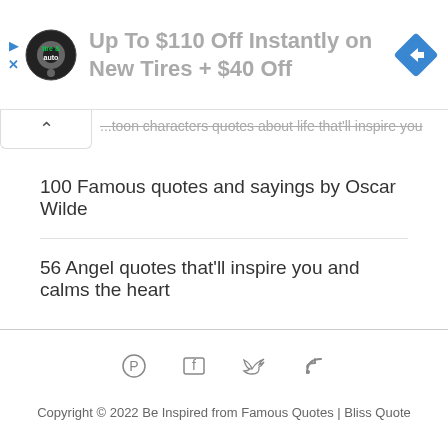[Figure (screenshot): Advertisement banner: Tire & Auto logo with text 'Up To $110 Off Instantly on New Tires + $40 Off' and blue diamond arrow icon on right. Play and close (X) icons on far left. Collapse chevron bar below.]
...toon characters quotes about life that'll inspire you
100 Famous quotes and sayings by Oscar Wilde
56 Angel quotes that'll inspire you and calms the heart
Copyright © 2022 Be Inspired from Famous Quotes | Bliss Quote